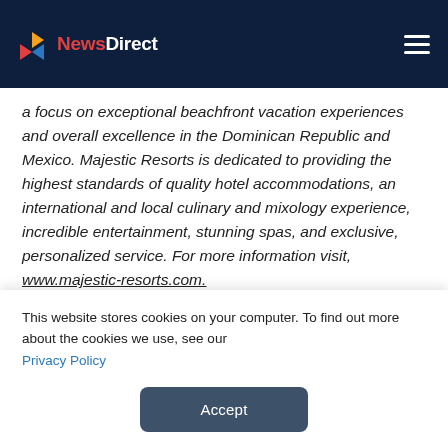NewsDirect
a focus on exceptional beachfront vacation experiences and overall excellence in the Dominican Republic and Mexico. Majestic Resorts is dedicated to providing the highest standards of quality hotel accommodations, an international and local culinary and mixology experience, incredible entertainment, stunning spas, and exclusive, personalized service. For more information visit, www.majestic-resorts.com.
Contact Details
Sandy O'Bri...
This website stores cookies on your computer. To find out more about the cookies we use, see our Privacy Policy
Accept